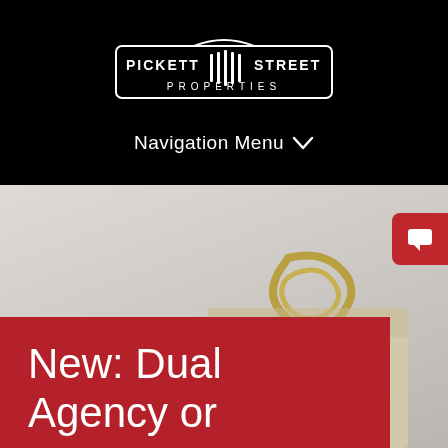[Figure (logo): Pickett Street Properties logo — rectangular badge with fence-post graphic between PICKETT and STREET text, PROPERTIES lettered below in spaced capitals, all white on black background]
Navigation Menu ▾
[Figure (photo): Close-up photograph of a brass/gold paperclip or binder clip on light beige paper, blurred background]
New: Dual Agency or